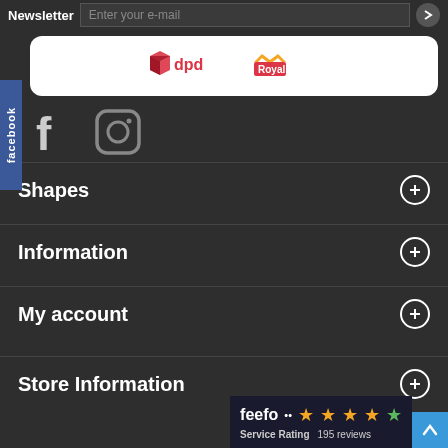Newsletter — Enter your e-mail
[Figure (logo): DPD and Royal Mail shipping logos on white rounded rectangle]
[Figure (logo): Facebook tab sidebar, Facebook F icon, Instagram camera icon]
Shapes
Information
My account
Store Information
[Figure (logo): Feefo Service Rating badge: 4 stars, 195 reviews]